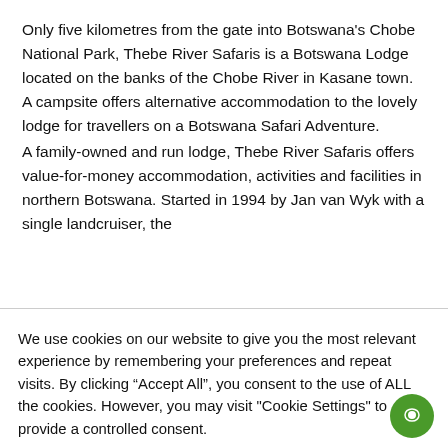Only five kilometres from the gate into Botswana's Chobe National Park, Thebe River Safaris is a Botswana Lodge located on the banks of the Chobe River in Kasane town. A campsite offers alternative accommodation to the lovely lodge for travellers on a Botswana Safari Adventure.
A family-owned and run lodge, Thebe River Safaris offers value-for-money accommodation, activities and facilities in northern Botswana. Started in 1994 by Jan van Wyk with a single landcruiser, the
We use cookies on our website to give you the most relevant experience by remembering your preferences and repeat visits. By clicking “Accept All”, you consent to the use of ALL the cookies. However, you may visit "Cookie Settings" to provide a controlled consent.